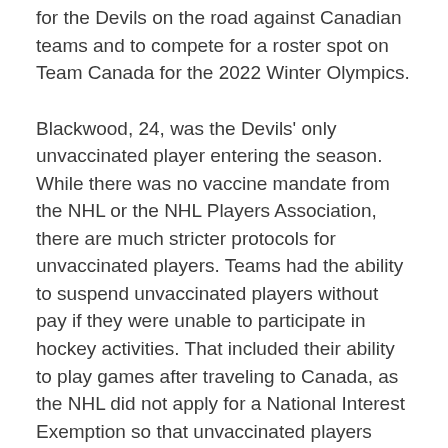for the Devils on the road against Canadian teams and to compete for a roster spot on Team Canada for the 2022 Winter Olympics.
Blackwood, 24, was the Devils' only unvaccinated player entering the season. While there was no vaccine mandate from the NHL or the NHL Players Association, there are much stricter protocols for unvaccinated players. Teams had the ability to suspend unvaccinated players without pay if they were unable to participate in hockey activities. That included their ability to play games after traveling to Canada, as the NHL did not apply for a National Interest Exemption so that unvaccinated players could avoid mandatory quarantines.
[image]